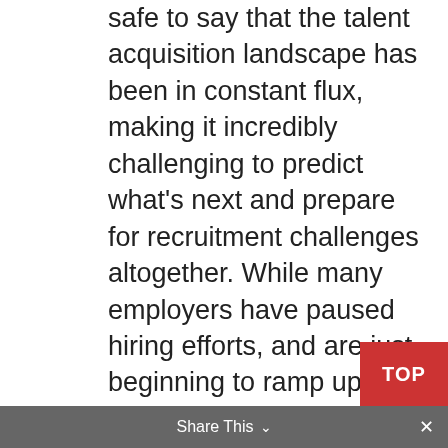safe to say that the talent acquisition landscape has been in constant flux, making it incredibly challenging to predict what's next and prepare for recruitment challenges altogether. While many employers have paused hiring efforts, and are just beginning to ramp up activities, others have taken careful time to reassess their employment brand, recruitment marketing efforts, and fill the gaps that exist in their processes. One tool offered by our Recruit Rooster team is helping to fill those talent gaps and ensure a continued flow of interested candidates – the new Talent Community. Let's dive in and look at how various future-focused employers are using these fully customizable instances to build their talent pipeline and reduce time to hire – and even in some use-cases, add
Share This ∨  ×